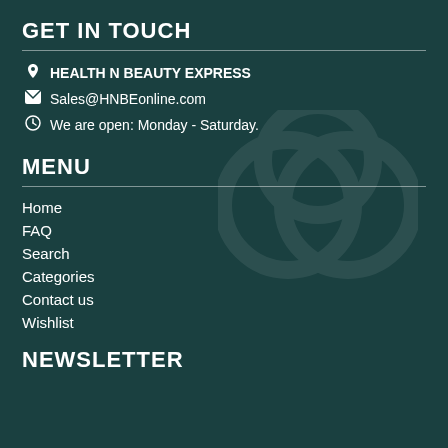GET IN TOUCH
🏠 HEALTH N BEAUTY EXPRESS
✉ Sales@HNBEonline.com
⊙ We are open: Monday - Saturday.
MENU
Home
FAQ
Search
Categories
Contact us
Wishlist
NEWSLETTER